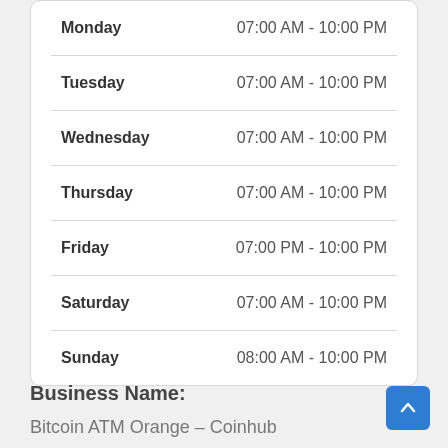| Day | Hours |
| --- | --- |
| Monday | 07:00 AM - 10:00 PM |
| Tuesday | 07:00 AM - 10:00 PM |
| Wednesday | 07:00 AM - 10:00 PM |
| Thursday | 07:00 AM - 10:00 PM |
| Friday | 07:00 PM - 10:00 PM |
| Saturday | 07:00 AM - 10:00 PM |
| Sunday | 08:00 AM - 10:00 PM |
Business Name:
Bitcoin ATM Orange – Coinhub